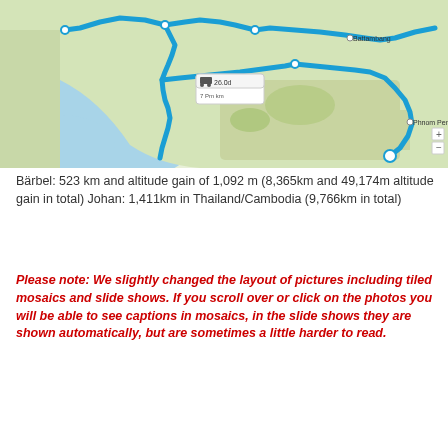[Figure (map): Google Maps route map showing a driving route through Thailand and Cambodia, with a blue line tracing the path. A popup shows '26.0d / 7 Km'. Locations include Battambang and Phnom Penh visible on the map.]
Bärbel: 523 km and altitude gain of 1,092 m (8,365km and 49,174m altitude gain in total) Johan: 1,411km in Thailand/Cambodia (9,766km in total)
Please note: We slightly changed the layout of pictures including tiled mosaics and slide shows. If you scroll over or click on the photos you will be able to see captions in mosaics, in the slide shows they are shown automatically, but are sometimes a little harder to read.